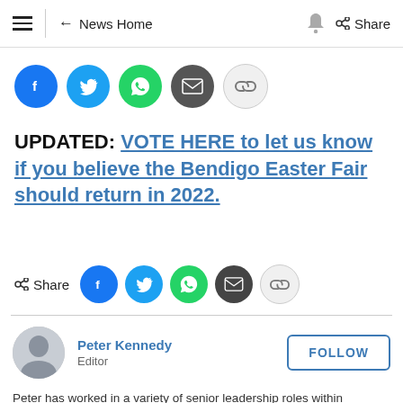≡  ← News Home   🔔  < Share
[Figure (infographic): Row of social share icon buttons: Facebook (blue), Twitter (blue), WhatsApp (green), Email (dark gray), Link (light gray)]
UPDATED: VOTE HERE to let us know if you believe the Bendigo Easter Fair should return in 2022.
[Figure (infographic): Share label with social icon buttons: Facebook (blue), Twitter (blue), WhatsApp (green), Email (dark gray), Link (light gray)]
Peter Kennedy
Editor
Peter has worked in a variety of senior leadership roles within